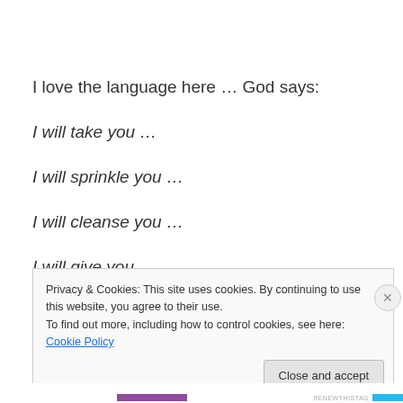I love the language here … God says:
I will take you …
I will sprinkle you …
I will cleanse you …
I will give you …
Privacy & Cookies: This site uses cookies. By continuing to use this website, you agree to their use.
To find out more, including how to control cookies, see here: Cookie Policy
Close and accept
RENEWTHISTAG